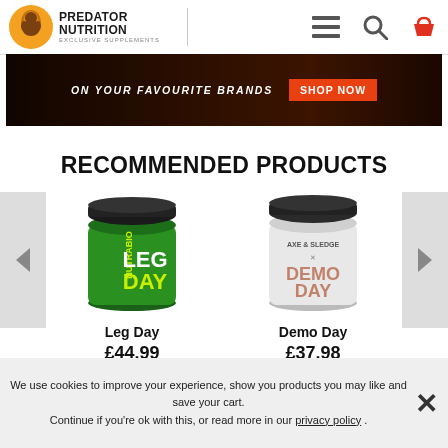[Figure (screenshot): Predator Nutrition website header with logo, hamburger menu, search icon, and shopping basket icon]
[Figure (screenshot): Dark promotional banner with text 'ON YOUR FAVOURITE BRANDS' and orange 'SHOP NOW' button]
RECOMMENDED PRODUCTS
[Figure (photo): NutraBio Leg Day supplement tub, green container]
Leg Day
£44.99
[Figure (photo): Demo Day supplement tub, white/grey container]
Demo Day
£37.98
We use cookies to improve your experience, show you products you may like and save your cart. Continue if you're ok with this, or read more in our privacy policy .